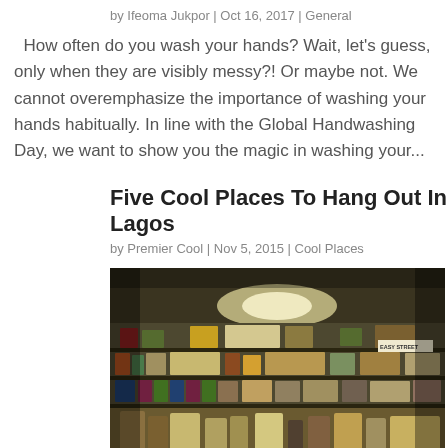by Ifeoma Jukpor | Oct 16, 2017 | General
How often do you wash your hands? Wait, let's guess, only when they are visibly messy?! Or maybe not. We cannot overemphasize the importance of washing your hands habitually. In line with the Global Handwashing Day, we want to show you the magic in washing your...
Five Cool Places To Hang Out In Lagos
by Premier Cool | Nov 5, 2015 | Cool Places
[Figure (photo): Interior of a vintage shop or cafe with shelves full of products, decorative items, and a bright light overhead. Sign reading 'EASY STREET' visible on the right side.]